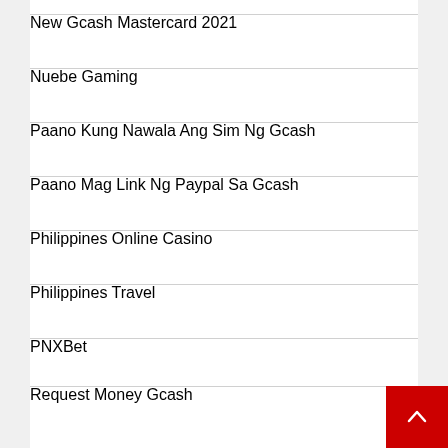New Gcash Mastercard 2021
Nuebe Gaming
Paano Kung Nawala Ang Sim Ng Gcash
Paano Mag Link Ng Paypal Sa Gcash
Philippines Online Casino
Philippines Travel
PNXBet
Request Money Gcash